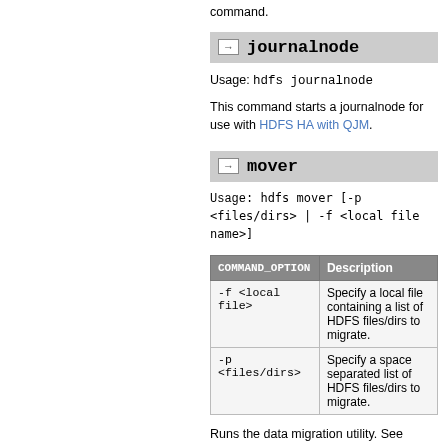command.
journalnode
Usage: hdfs journalnode
This command starts a journalnode for use with HDFS HA with QJM.
mover
Usage: hdfs mover [-p <files/dirs> | -f <local file name>]
| COMMAND_OPTION | Description |
| --- | --- |
| -f <local file> | Specify a local file containing a list of HDFS files/dirs to migrate. |
| -p <files/dirs> | Specify a space separated list of HDFS files/dirs to migrate. |
Runs the data migration utility. See